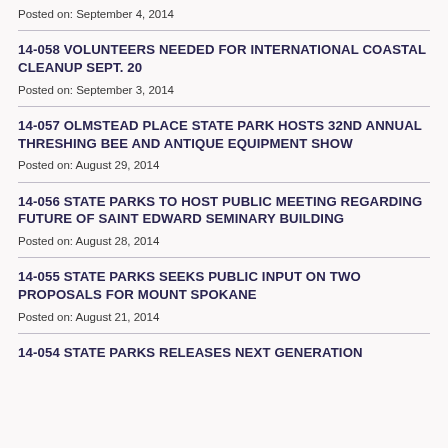Posted on: September 4, 2014
14-058 VOLUNTEERS NEEDED FOR INTERNATIONAL COASTAL CLEANUP SEPT. 20
Posted on: September 3, 2014
14-057 OLMSTEAD PLACE STATE PARK HOSTS 32ND ANNUAL THRESHING BEE AND ANTIQUE EQUIPMENT SHOW
Posted on: August 29, 2014
14-056 STATE PARKS TO HOST PUBLIC MEETING REGARDING FUTURE OF SAINT EDWARD SEMINARY BUILDING
Posted on: August 28, 2014
14-055 STATE PARKS SEEKS PUBLIC INPUT ON TWO PROPOSALS FOR MOUNT SPOKANE
Posted on: August 21, 2014
14-054 STATE PARKS RELEASES NEXT GENERATION